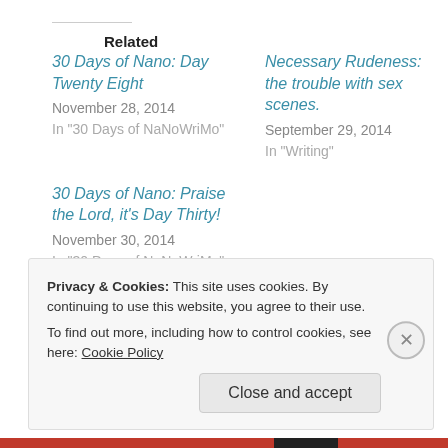Related
30 Days of Nano: Day Twenty Eight
November 28, 2014
In "30 Days of NaNoWriMo"
Necessary Rudeness: the trouble with sex scenes.
September 29, 2014
In "Writing"
30 Days of Nano: Praise the Lord, it's Day Thirty!
November 30, 2014
In "30 Days of NaNoWriMo"
Privacy & Cookies: This site uses cookies. By continuing to use this website, you agree to their use.
To find out more, including how to control cookies, see here: Cookie Policy
Close and accept